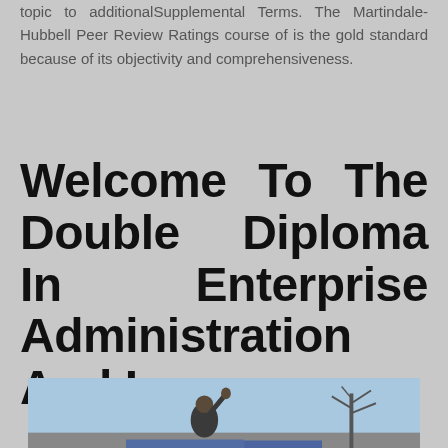topic to additionalSupplemental Terms. The Martindale-Hubbell Peer Review Ratings course of is the gold standard because of its objectivity and comprehensiveness.
Welcome To The Double Diploma In Enterprise Administration And Law
[Figure (photo): Outdoor photo of a person raising a fist holding a sign, with bare trees visible against a blue sky background. A protest or demonstration scene.]